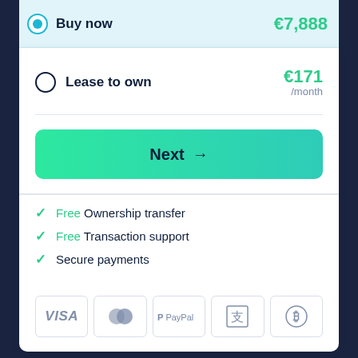Buy now — €7,888
Lease to own — €171 /month
Next →
✓ Free Ownership transfer
✓ Free Transaction support
✓ Secure payments
[Figure (other): Payment method icons: VISA, Mastercard (two overlapping circles), PayPal, Alipay (Chinese character), Bitcoin]